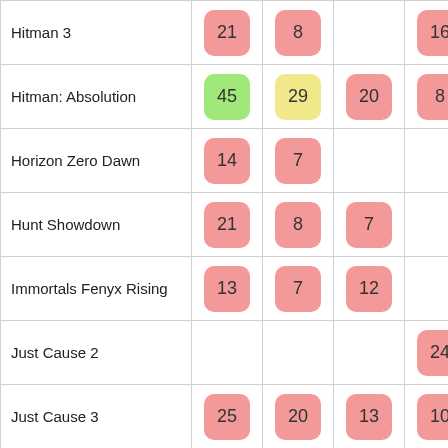| Game | Col1 | Col2 | Col3 | Col4 |
| --- | --- | --- | --- | --- |
| Hitman 3 | 21 | 8 |  | 16 |
| Hitman: Absolution | 45 | 29 | 20 | 8 |
| Horizon Zero Dawn | 14 | 7 |  |  |
| Hunt Showdown | 21 | 8 | 7 |  |
| Immortals Fenyx Rising | 13 | 7 | 12 |  |
| Just Cause 2 |  |  |  | 24 |
| Just Cause 3 | 25 | 20 | 13 | 10 |